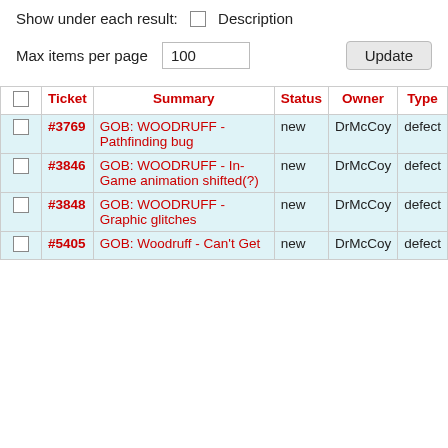Show under each result: ☐ Description
Max items per page  100  Update
| ☐ | Ticket | Summary | Status | Owner | Type |
| --- | --- | --- | --- | --- | --- |
| ☐ | #3769 | GOB: WOODRUFF - Pathfinding bug | new | DrMcCoy | defect |
| ☐ | #3846 | GOB: WOODRUFF - In-Game animation shifted(?) | new | DrMcCoy | defect |
| ☐ | #3848 | GOB: WOODRUFF - Graphic glitches | new | DrMcCoy | defect |
| ☐ | #5405 | GOB: Woodruff - Can't Get | new | DrMcCoy | defect |